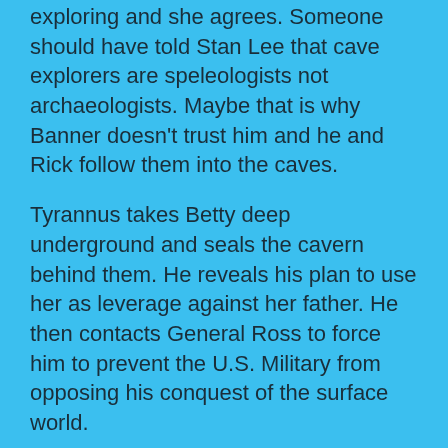exploring and she agrees. Someone should have told Stan Lee that cave explorers are speleologists not archaeologists. Maybe that is why Banner doesn't trust him and he and Rick follow them into the caves.
Tyrannus takes Betty deep underground and seals the cavern behind them. He reveals his plan to use her as leverage against her father. He then contacts General Ross to force him to prevent the U.S. Military from opposing his conquest of the surface world.
Banner and Rick find the sealed off cavern. They then go to their secret cave so Banner can become the Hulk and break thru the seal. Once thru the seal they follow the cavern to Tyrannus' lair where the villain uses gas to knock out the Hulk. The monster